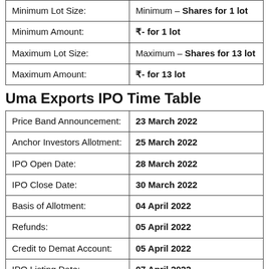| Minimum Lot Size: | Minimum – Shares for 1 lot |
| Minimum Amount: | ₹- for 1 lot |
| Maximum Lot Size: | Maximum – Shares for 13 lot |
| Maximum Amount: | ₹- for 13 lot |
Uma Exports IPO Time Table
| Price Band Announcement: | 23 March 2022 |
| Anchor Investors Allotment: | 25 March 2022 |
| IPO Open Date: | 28 March 2022 |
| IPO Close Date: | 30 March 2022 |
| Basis of Allotment: | 04 April 2022 |
| Refunds: | 05 April 2022 |
| Credit to Demat Account: | 05 April 2022 |
| IPO Listing Date: | 07 April 2022 |